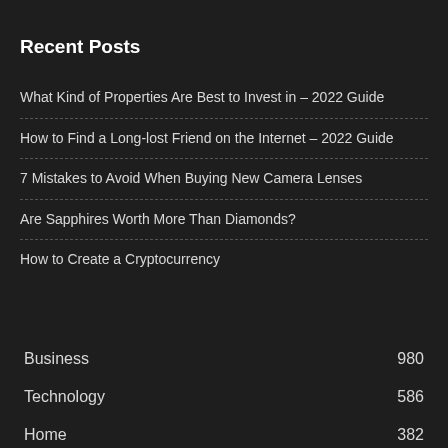Recent Posts
What Kind of Properties Are Best to Invest in – 2022 Guide
How to Find a Long-lost Friend on the Internet – 2022 Guide
7 Mistakes to Avoid When Buying New Camera Lenses
Are Sapphires Worth More Than Diamonds?
How to Create a Cryptocurrency
Business 980
Technology 586
Home 382